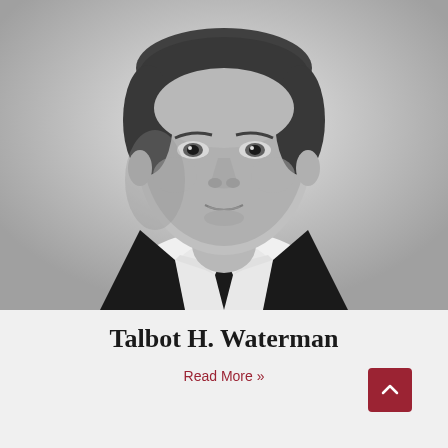[Figure (photo): Black and white portrait photograph of Talbot H. Waterman, a middle-aged man wearing a dark suit jacket, white dress shirt, and dark tie, photographed against a light background.]
Talbot H. Waterman
Read More »